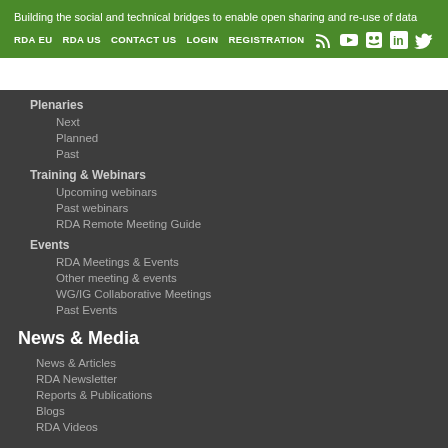Building the social and technical bridges to enable open sharing and re-use of data
RDA EU
RDA US
CONTACT US
LOGIN
REGISTRATION
Plenaries
Next
Planned
Past
Training & Webinars
Upcoming webinars
Past webinars
RDA Remote Meeting Guide
Events
RDA Meetings & Events
Other meeting & events
WG/IG Collaborative Meetings
Past Events
News & Media
News & Articles
RDA Newsletter
Reports & Publications
Blogs
RDA Videos